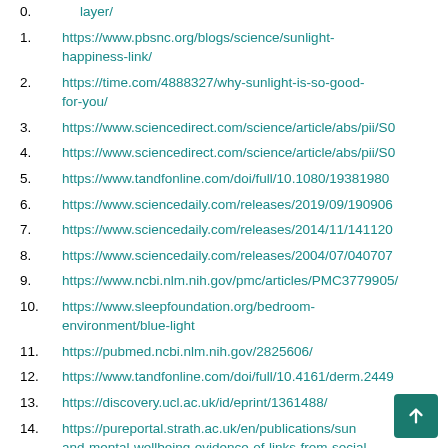layer/
https://www.pbsnc.org/blogs/science/sunlight-happiness-link/
https://time.com/4888327/why-sunlight-is-so-good-for-you/
https://www.sciencedirect.com/science/article/abs/pii/S0
https://www.sciencedirect.com/science/article/abs/pii/S0
https://www.tandfonline.com/doi/full/10.1080/19381980
https://www.sciencedaily.com/releases/2019/09/190906
https://www.sciencedaily.com/releases/2014/11/141120
https://www.sciencedaily.com/releases/2004/07/040707
https://www.ncbi.nlm.nih.gov/pmc/articles/PMC3779905/
https://www.sleepfoundation.org/bedroom-environment/blue-light
https://pubmed.ncbi.nlm.nih.gov/2825606/
https://www.tandfonline.com/doi/full/10.4161/derm.2449
https://discovery.ucl.ac.uk/id/eprint/1361488/
https://pureportal.strath.ac.uk/en/publications/sun and-mental-wellbeing-evidence-of-links-from-social